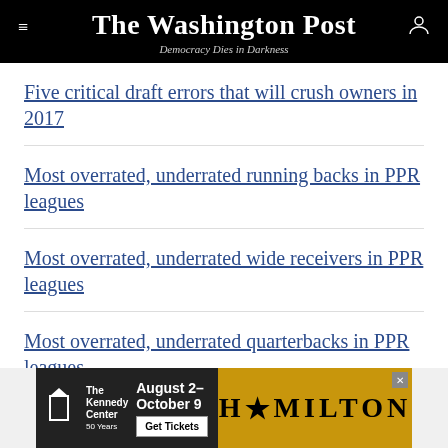The Washington Post
Democracy Dies in Darkness
Five critical draft errors that will crush owners in 2017
Most overrated, underrated running backs in PPR leagues
Most overrated, underrated wide receivers in PPR leagues
Most overrated, underrated quarterbacks in PPR leagues
Most overrated, underrated tight ends in PPR leagues
[Figure (other): Hamilton advertisement - The Kennedy Center, August 2 - October 9, Get Tickets]